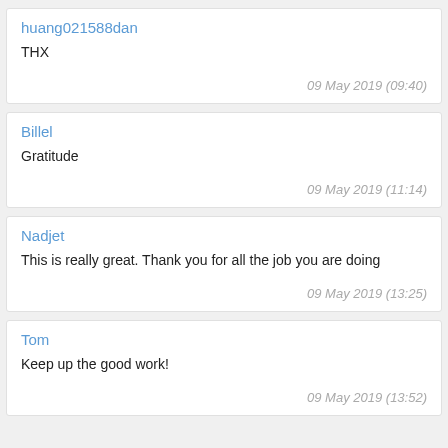huang021588dan
THX
09 May 2019 (09:40)
Billel
Gratitude
09 May 2019 (11:14)
Nadjet
This is really great. Thank you for all the job you are doing
09 May 2019 (13:25)
Tom
Keep up the good work!
09 May 2019 (13:52)